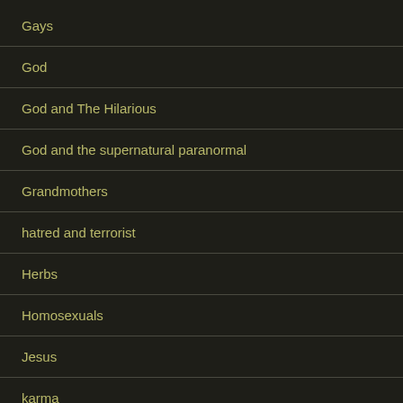Gays
God
God and The Hilarious
God and the supernatural paranormal
Grandmothers
hatred and terrorist
Herbs
Homosexuals
Jesus
karma